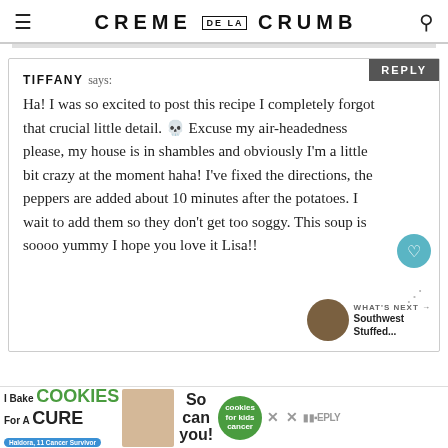CREME DE LA CRUMB
TIFFANY says:
Ha! I was so excited to post this recipe I completely forgot that crucial little detail. 🙈 Excuse my air-headedness please, my house is in shambles and obviously I'm a little bit crazy at the moment haha! I've fixed the directions, the peppers are added about 10 minutes after the potatoes. I wait to add them so they don't get too soggy. This soup is soooo yummy I hope you love it Lisa!!
WHAT'S NEXT → Southwest Stuffed...
[Figure (photo): Advertisement banner: I Bake COOKIES For A CURE - Haldora, 11 Cancer Survivor - So can you! - cookies for kids cancer logo]